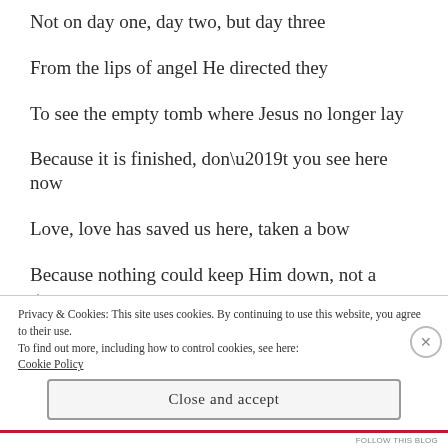Not on day one, day two, but day three
From the lips of angel He directed they
To see the empty tomb where Jesus no longer lay
Because it is finished, don’t you see here now
Love, love has saved us here, taken a bow
Because nothing could keep Him down, not a grave
Privacy & Cookies: This site uses cookies. By continuing to use this website, you agree to their use.
To find out more, including how to control cookies, see here: Cookie Policy
Close and accept